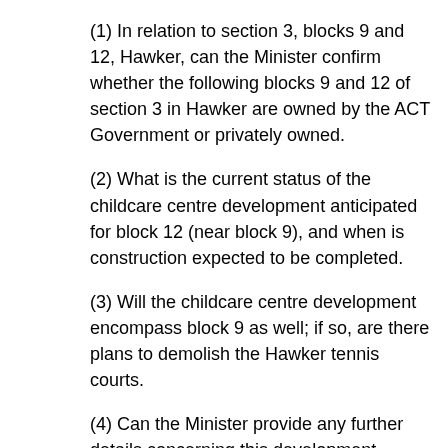(1) In relation to section 3, blocks 9 and 12, Hawker, can the Minister confirm whether the following blocks 9 and 12 of section 3 in Hawker are owned by the ACT Government or privately owned.
(2) What is the current status of the childcare centre development anticipated for block 12 (near block 9), and when is construction expected to be completed.
(3) Will the childcare centre development encompass block 9 as well; if so, are there plans to demolish the Hawker tennis courts.
(4) Can the Minister provide any further details concerning this development.
Mr Gentleman: The answer to the member’s question is as